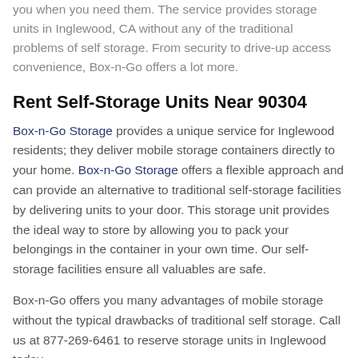you when you need them. The service provides storage units in Inglewood, CA without any of the traditional problems of self storage. From security to drive-up access convenience, Box-n-Go offers a lot more.
Rent Self-Storage Units Near 90304
Box-n-Go Storage provides a unique service for Inglewood residents; they deliver mobile storage containers directly to your home. Box-n-Go Storage offers a flexible approach and can provide an alternative to traditional self-storage facilities by delivering units to your door. This storage unit provides the ideal way to store by allowing you to pack your belongings in the container in your own time. Our self-storage facilities ensure all valuables are safe.
Box-n-Go offers you many advantages of mobile storage without the typical drawbacks of traditional self storage. Call us at 877-269-6461 to reserve storage units in Inglewood today.